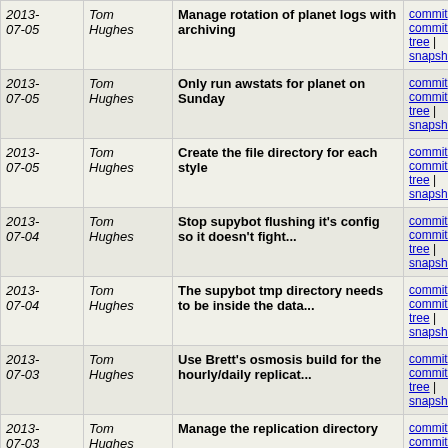| Date | Author | Message | Links |
| --- | --- | --- | --- |
| 2013-07-05 | Tom Hughes | Manage rotation of planet logs with archiving | commit | commitdiff | tree | snapshot |
| 2013-07-05 | Tom Hughes | Only run awstats for planet on Sunday | commit | commitdiff | tree | snapshot |
| 2013-07-05 | Tom Hughes | Create the file directory for each style | commit | commitdiff | tree | snapshot |
| 2013-07-04 | Tom Hughes | Stop supybot flushing it's config so it doesn't fight... | commit | commitdiff | tree | snapshot |
| 2013-07-04 | Tom Hughes | The supybot tmp directory needs to be inside the data... | commit | commitdiff | tree | snapshot |
| 2013-07-03 | Tom Hughes | Use Brett's osmosis build for the hourly/daily replicat... | commit | commitdiff | tree | snapshot |
| 2013-07-03 | Tom Hughes | Manage the replication directory | commit | commitdiff | tree | snapshot |
| 2013-07-03 | Tom Hughes | Fix hour and day replication configs | commit | commitdiff | tree | snapshot |
| 2013-07-03 | Tom Hughes | Bring changeset replication task under chef control | commit | commitdiff | tree | snapshot |
| 2013-07-03 | Tom Hughes | Stop the replication task moaning about schema mismatches | commit | commitdiff | tree | snapshot |